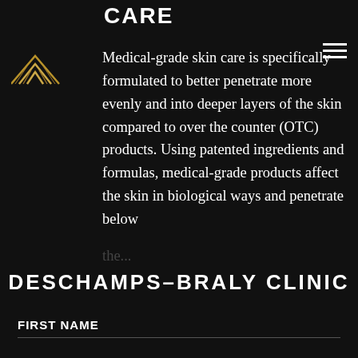CARE
[Figure (logo): Deschamps-Braly Clinic geometric diamond/chevron logo in gold]
Medical-grade skin care is specifically formulated to better penetrate more evenly and into deeper layers of the skin compared to over the counter (OTC) products. Using patented ingredients and formulas, medical-grade products affect the skin in biological ways and penetrate below the...
DESCHAMPS-BRALY CLINIC
FIRST NAME